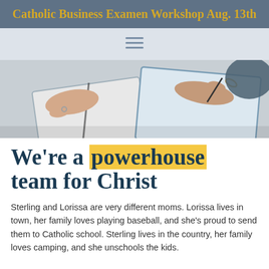Catholic Business Examen Workshop Aug. 13th
[Figure (photo): Two people sitting at a table writing in notebooks, view from above showing hands and open notebooks]
We're a powerhouse team for Christ
Sterling and Lorissa are very different moms. Lorissa lives in town, her family loves playing baseball, and she's proud to send them to Catholic school. Sterling lives in the country, her family loves camping, and she unschools the kids.